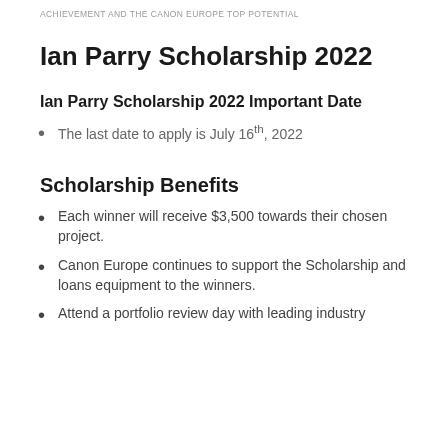ACHIEVEMENT AND THE CANON EUROPE TOP POTENTIAL
Ian Parry Scholarship 2022
Ian Parry Scholarship 2022 Important Date
The last date to apply is July 16th, 2022
Scholarship Benefits
Each winner will receive $3,500 towards their chosen project.
Canon Europe continues to support the Scholarship and loans equipment to the winners.
Attend a portfolio review day with leading industry